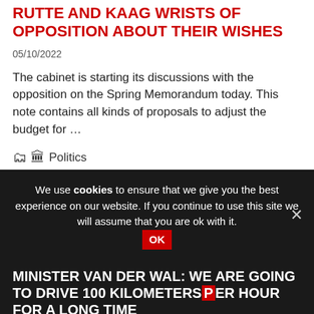RUTTE AND KAAG WRISTS OF OPPOSITION ABOUT THEIR WISHES
05/10/2022
The cabinet is starting its discussions with the opposition on the Spring Memorandum today. This note contains all kinds of proposals to adjust the budget for …
🗂 🏛 Politics
We use cookies to ensure that we give you the best experience on our website. If you continue to use this site we will assume that you are ok with it.
MINISTER VAN DER WAL: WE ARE GOING TO DRIVE 100 KILOMETERS PER HOUR FOR A LONG TIME